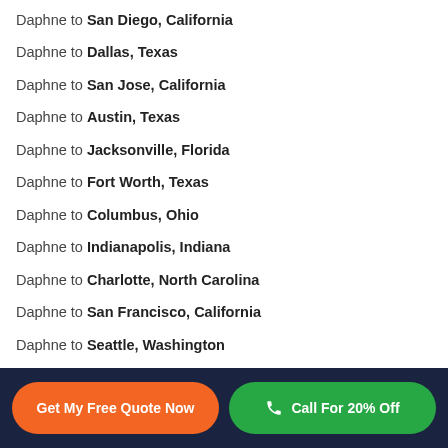Daphne to San Diego, California
Daphne to Dallas, Texas
Daphne to San Jose, California
Daphne to Austin, Texas
Daphne to Jacksonville, Florida
Daphne to Fort Worth, Texas
Daphne to Columbus, Ohio
Daphne to Indianapolis, Indiana
Daphne to Charlotte, North Carolina
Daphne to San Francisco, California
Daphne to Seattle, Washington
Daphne to Denver, Colorado
Daphne to Washington, District of Columbia
Get My Free Quote Now | Call For 20% Off